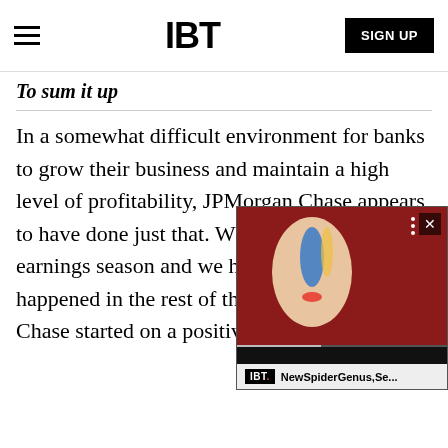IBT | SIGN UP
To sum it up
In a somewhat difficult environment for banks to grow their business and maintain a high level of profitability, JPMorgan Chase appears to have done just that. While it's very early in earnings season and we have yet to see what happened in the rest of the sector, JPMorgan Chase started on a positive note.
[Figure (screenshot): IBT video widget overlay showing a Bowie-like face paint image with caption 'NewSpiderGenus,Se...']